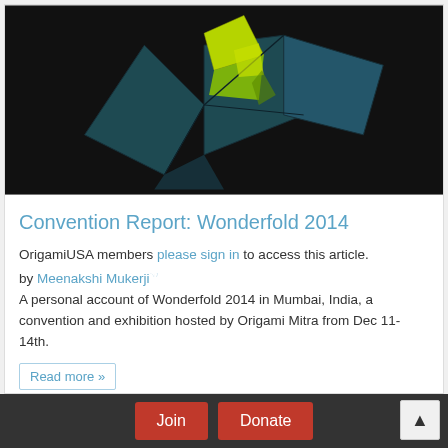[Figure (photo): Dark background origami figure — a dark teal/blue folded paper bird or butterfly shape with yellow-green accent, photographed against a nearly black background.]
Convention Report: Wonderfold 2014
OrigamiUSA members please sign in to access this article.
by Meenakshi Mukerji
A personal account of Wonderfold 2014 in Mumbai, India, a convention and exhibition hosted by Origami Mitra from Dec 11-14th.
Read more »